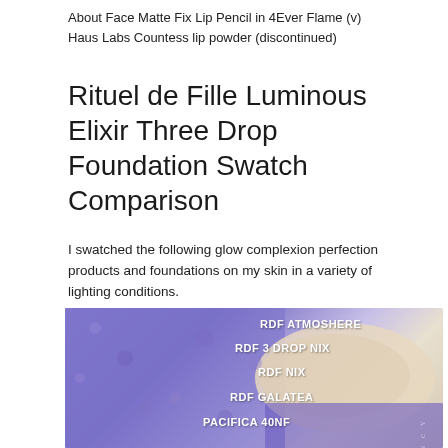About Face Matte Fix Lip Pencil in 4Ever Flame (v)
Haus Labs Countess lip powder (discontinued)
Rituel de Fille Luminous Elixir Three Drop Foundation Swatch Comparison
I swatched the following glow complexion perfection products and foundations on my skin in a variety of lighting conditions.
[Figure (photo): Skin swatch photo on a purple textured background showing labeled swatches: RDF ATMOSHERE, RDF 3 DROP NIX, RDF NIX, RDF GALATEA, PACIFICA 40NF. Watermark 'PHYRANCY' visible.]